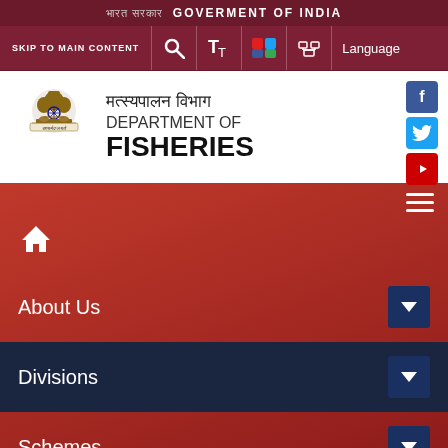भारत सरकार  GOVERMENT OF INDIA
SKIP TO MAIN CONTENT
Language
[Figure (logo): India Government Ashoka Pillar emblem logo]
मत्स्यपालन विभाग DEPARTMENT OF FISHERIES
About Us
Divisions
Schemes
PMMSY Website